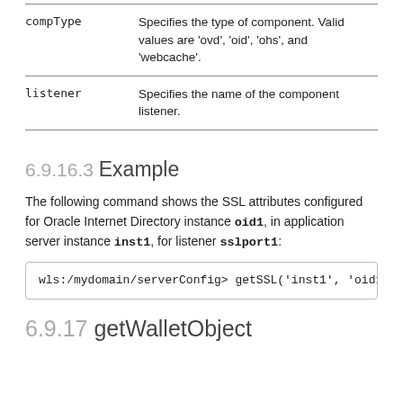| compType | Specifies the type of component. Valid values are 'ovd', 'oid', 'ohs', and 'webcache'. |
| listener | Specifies the name of the component listener. |
6.9.16.3 Example
The following command shows the SSL attributes configured for Oracle Internet Directory instance oid1, in application server instance inst1, for listener sslport1:
wls:/mydomain/serverConfig> getSSL('inst1', 'oid1
6.9.17 getWalletObject